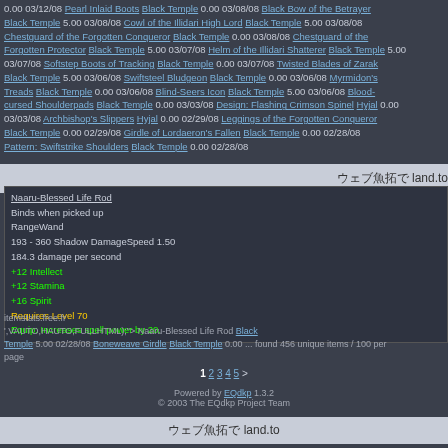0.00 03/12/08 [icon] Pearl Inlaid Boots Black Temple 0.00 03/08/08 Black Bow of the Betrayer Black Temple 5.00 03/08/08 Cowl of the Illidari High Lord Black Temple 5.00 03/08/08 [icon] Chestguard of the Forgotten Conqueror Black Temple 0.00 03/08/08 [icon] Chestguard of the Forgotten Protector Black Temple 5.00 03/07/08 Helm of the Illidari Shatterer Black Temple 5.00 03/07/08 [icon] Softstep Boots of Tracking Black Temple 0.00 03/07/08 [icon] Twisted Blades of Zarak Black Temple 5.00 03/06/08 [icon] Swiftsteel Bludgeon Black Temple 0.00 03/06/08 Myrmidon's Treads Black Temple 0.00 03/06/08 Blind-Seers Icon Black Temple 5.00 03/06/08 [icon] Blood-cursed Shoulderpads Black Temple 0.00 03/03/08 [icon] Design: Flashing Crimson Spinel Hyjal 0.00 03/03/08 Archbishop's Slippers Hyjal 0.00 02/29/08 [icon] Leggings of the Forgotten Conqueror Black Temple 0.00 02/29/08 [icon] Girdle of Lordaeron's Fallen Black Temple 0.00 02/28/08 [icon] Pattern: Swiftstrike Shoulders Black Temple 0.00 02/28/08
ウェブ魚拓で land.to
Naaru-Blessed Life Rod
Binds when picked up
RangeWand
193 - 360 Shadow DamageSpeed 1.50
184.3 damage per second
+12 Intellect
+12 Stamina
+16 Spirit
Requires Level 70
Equip: Increases spell power by 20.
itemstats.free.fr
',VAUTO,HAUTO,FULLHTML);" onmouseout="return nd();"> Naaru-Blessed Life Rod Black Temple 5.00 02/28/08 Boneweave Girdle Black Temple 0.00 ... found 456 unique items / 100 per page
1 2 3 4 5 >
Powered by EQdkp 1.3.2
© 2003 The EQdkp Project Team
ウェブ魚拓で land.to